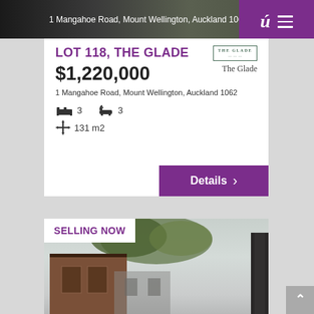1 Mangahoe Road, Mount Wellington, Auckland 106
LOT 118, THE GLADE
$1,220,000
1 Mangahoe Road, Mount Wellington, Auckland 1062
3  3  131 m2
The Glade
Details
SELLING NOW
[Figure (photo): Exterior photo of modern townhouses at The Glade development, with trees in foreground and dark building structures]